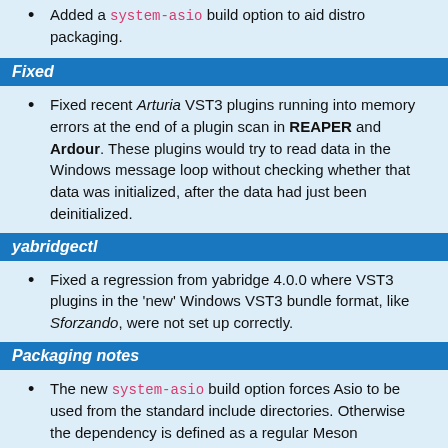Added a system-asio build option to aid distro packaging.
Fixed
Fixed recent Arturia VST3 plugins running into memory errors at the end of a plugin scan in REAPER and Ardour. These plugins would try to read data in the Windows message loop without checking whether that data was initialized, after the data had just been deinitialized.
yabridgectl
Fixed a regression from yabridge 4.0.0 where VST3 plugins in the 'new' Windows VST3 bundle format, like Sforzando, were not set up correctly.
Packaging notes
The new system-asio build option forces Asio to be used from the standard include directories. Otherwise the dependency is defined as a regular Meson dependency. Asio does not have any pkgconfig or CMake build